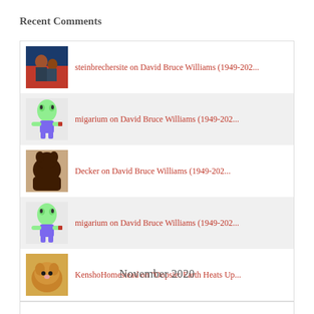Recent Comments
steinbrechersite on David Bruce Williams (1949-202...
migarium on David Bruce Williams (1949-202...
Decker on David Bruce Williams (1949-202...
migarium on David Bruce Williams (1949-202...
KenshoHomestead on "Oopsie: Earth Heats Up...
November 2020